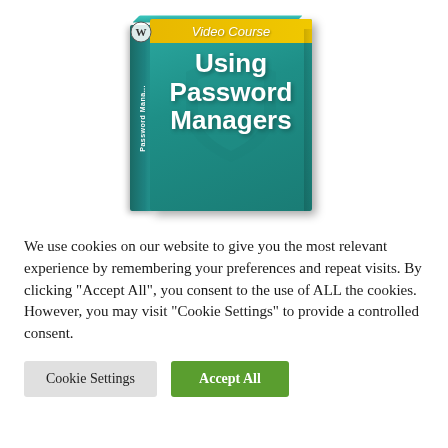[Figure (illustration): 3D software box for a Video Course titled 'Using Password Managers'. The box has a teal/cyan main face with a gold top banner reading 'Video Course' in italic white text, large bold white text reading 'Using Password Managers', a faint shield watermark behind the text, and a dark teal spine with 'Password Managers' written vertically. A WordPress logo circle appears on the spine near the top.]
We use cookies on our website to give you the most relevant experience by remembering your preferences and repeat visits. By clicking "Accept All", you consent to the use of ALL the cookies. However, you may visit "Cookie Settings" to provide a controlled consent.